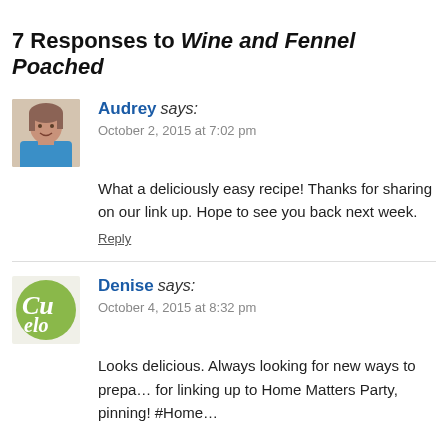7 Responses to Wine and Fennel Poached…
Audrey says:
October 2, 2015 at 7:02 pm
What a deliciously easy recipe! Thanks for sharing on our link up. Hope to see you back next week.
Reply
Denise says:
October 4, 2015 at 8:32 pm
Looks delicious. Always looking for new ways to prepa… for linking up to Home Matters Party, pinning! #Home…